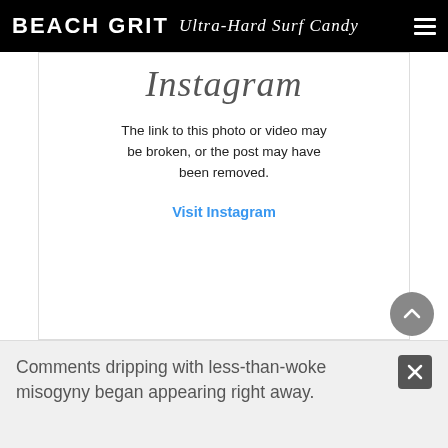BEACH GRIT Ultra-Hard Surf Candy
[Figure (screenshot): Instagram embed error state showing the Instagram wordmark in script font, an error message stating 'The link to this photo or video may be broken, or the post may have been removed.', and a blue 'Visit Instagram' link.]
The link to this photo or video may be broken, or the post may have been removed.
Visit Instagram
Comments dripping with less-than-woke misogyny began appearing right away.